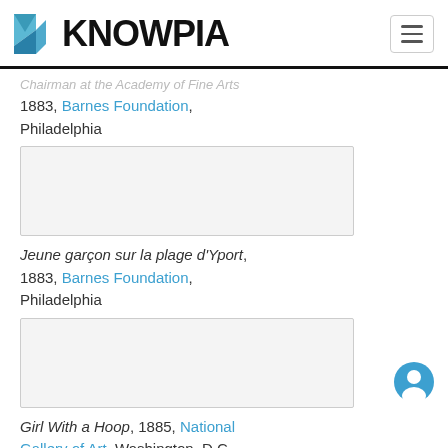KNOWPIA
1883, Barnes Foundation, Philadelphia
[Figure (photo): Image placeholder for artwork at Barnes Foundation, Philadelphia]
Jeune garçon sur la plage d'Yport, 1883, Barnes Foundation, Philadelphia
[Figure (photo): Image placeholder for artwork at Barnes Foundation, Philadelphia]
Girl With a Hoop, 1885, National Gallery of Art, Washington, D.C.
[Figure (photo): Partial image placeholder at bottom of page]